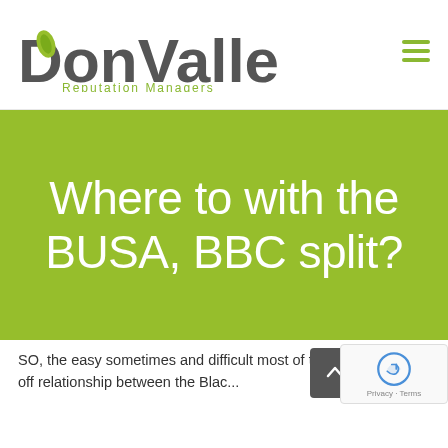[Figure (logo): DonValley Reputation Managers logo with stylized D and green leaf, grey bold text]
Where to with the BUSA, BBC split?
SO, the easy sometimes and difficult most of the time, on and off relationship between the Black...